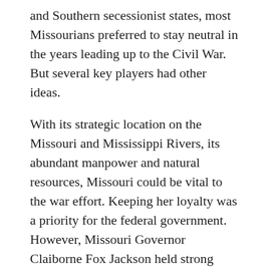and Southern secessionist states, most Missourians preferred to stay neutral in the years leading up to the Civil War. But several key players had other ideas.
With its strategic location on the Missouri and Mississippi Rivers, its abundant manpower and natural resources, Missouri could be vital to the war effort. Keeping her loyalty was a priority for the federal government. However, Missouri Governor Claiborne Fox Jackson held strong Southern sympathies and planned to cooperate with the Confederacy's bid for independence.
When President Lincoln called on Missouri to supply four regiments to help put down